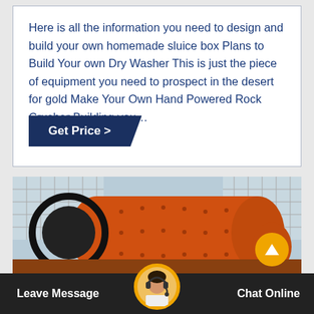Here is all the information you need to design and build your own homemade sluice box Plans to Build Your own Dry Washer This is just the piece of equipment you need to prospect in the desert for gold Make Your Own Hand Powered Rock Crusher Building you…
[Figure (other): Dark navy blue parallelogram-shaped button with white text reading 'Get Price >']
[Figure (photo): Close-up photograph of an orange industrial ball mill machine with bolted cylindrical drum, gear drive, and supporting structure, in an outdoor industrial setting.]
[Figure (other): Bottom navigation bar with dark background showing 'Leave Message' on left, a chat operator avatar icon with headset in center, and 'Chat Online' on right. A gold/orange scroll-up arrow button appears above the bar.]